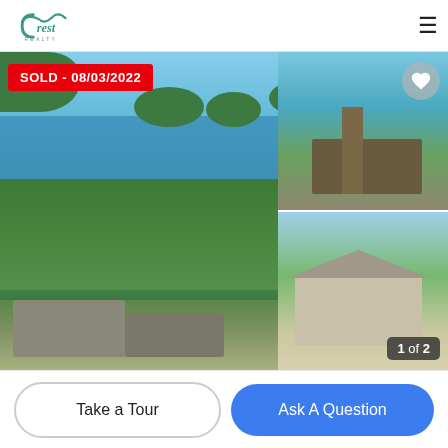[Figure (logo): Crest Realty logo with wave]
[Figure (photo): Aerial lakefront property photo with SOLD 08/03/2022 badge, showing lake with wooded islands, residential homes, and two thumbnail photos of dock and house on right side. Counter shows 1 of 2.]
Take a Tour
Ask A Question